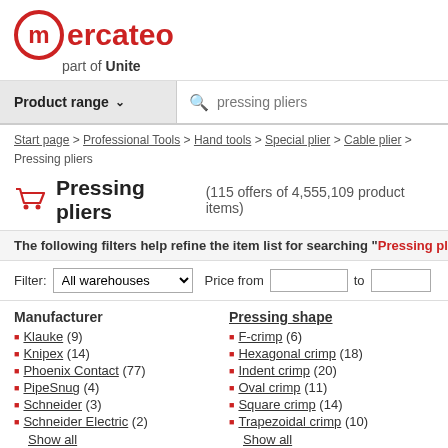[Figure (logo): Mercateo logo with red circle M and text 'mercateo part of Unite']
Product range ▾   pressing pliers
Start page > Professional Tools > Hand tools > Special plier > Cable plier > Pressing pliers
Pressing pliers (115 offers of 4,555,109 product items)
The following filters help refine the item list for searching "Pressing pliers" a
Filter: All warehouses ▾   Price from   to
Manufacturer
Klauke (9)
Knipex (14)
Phoenix Contact (77)
PipeSnug (4)
Schneider (3)
Schneider Electric (2)
Show all
Pressing shape
F-crimp (6)
Hexagonal crimp (18)
Indent crimp (20)
Oval crimp (11)
Square crimp (14)
Trapezoidal crimp (10)
Show all
Features   Picture   Item ▲▼